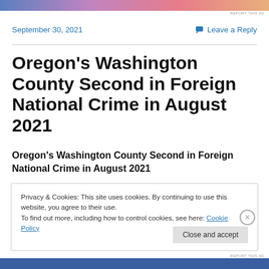REPORT THIS AD
September 30, 2021
Leave a Reply
Oregon's Washington County Second in Foreign National Crime in August 2021
Oregon's Washington County Second in Foreign National Crime in August 2021
Privacy & Cookies: This site uses cookies. By continuing to use this website, you agree to their use.
To find out more, including how to control cookies, see here: Cookie Policy
Close and accept
REPORT THIS AD